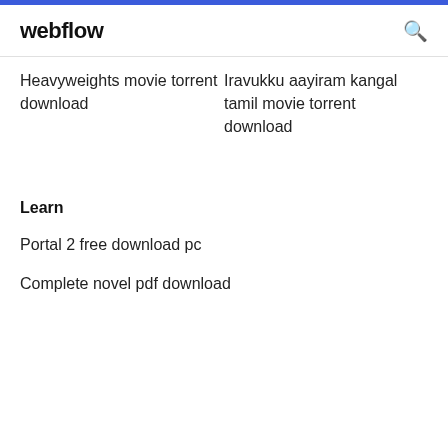webflow
Heavyweights movie torrent download
Iravukku aayiram kangal tamil movie torrent download
Learn
Portal 2 free download pc
Complete novel pdf download